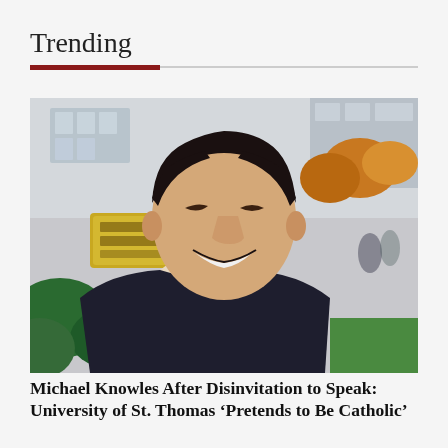Trending
[Figure (photo): Photo of Michael Knowles smiling and looking upward, with a University of St. Thomas sign visible in the blurred background.]
Michael Knowles After Disinvitation to Speak: University of St. Thomas ‘Pretends to Be Catholic’